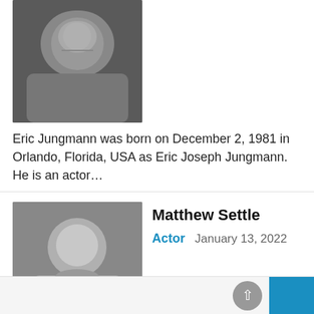[Figure (photo): Black and white headshot photo of a young man with dark hair wearing a dark jacket and grey shirt]
Eric Jungmann was born on December 2, 1981 in Orlando, Florida, USA as Eric Joseph Jungmann. He is an actor...
[Figure (photo): Black and white headshot photo of Matthew Settle, a man with dark hair wearing a necklace]
Matthew Settle
Actor   January 13, 2022
Matthew Settle continues to evolve into a respected actor of Stage and Screen. Known in households, around the world, for...